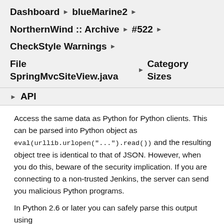Dashboard ▶ blueMarine2 ▶
NorthernWind :: Archive ▶ #522 ▶
CheckStyle Warnings ▶
File SpringMvcSiteView.java ▶ Category Sizes
▶ API
Access the same data as Python for Python clients. This can be parsed into Python object as eval(urllib.urlopen("...").read()) and the resulting object tree is identical to that of JSON. However, when you do this, beware of the security implication. If you are connecting to a non-trusted Jenkins, the server can send you malicious Python programs.
In Python 2.6 or later you can safely parse this output using ast.literal_eval(urllib.urlopen("...").read()
For more information about remote API in Jenkins, see the